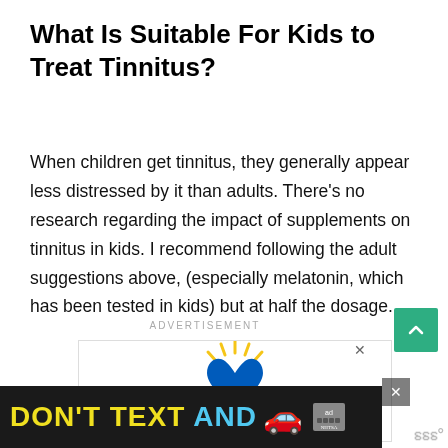What Is Suitable For Kids to Treat Tinnitus?
When children get tinnitus, they generally appear less distressed by it than adults. There’s no research regarding the impact of supplements on tinnitus in kids. I recommend following the adult suggestions above, (especially melatonin, which has been tested in kids) but at half the dosage.
ADVERTISEMENT
[Figure (illustration): Ukraine flag heart shape with raised hands illustration, decorative advertisement graphic]
[Figure (screenshot): Bottom banner advertisement: black background with yellow text 'DON’T TEXT' and cyan text 'AND' with a red car emoji and NHTSA ad logo. Close button visible.]